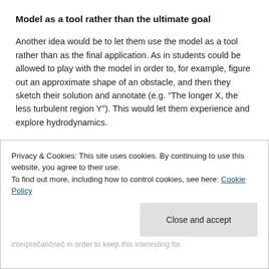Model as a tool rather than the ultimate goal
Another idea would be to let them use the model as a tool rather than as the final application. As in students could be allowed to play with the model in order to, for example, figure out an approximate shape of an obstacle, and then they sketch their solution and annotate (e.g. “The longer X, the less turbulent region Y”). This would let them experience and explore hydrodynamics.
Peer-review
Privacy & Cookies: This site uses cookies. By continuing to use this website, you agree to their use.
To find out more, including how to control cookies, see here: Cookie Policy
interprečančneččneččččč in order to keep this interesting for